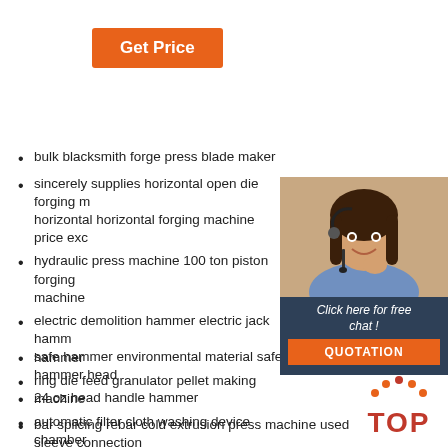[Figure (other): Orange 'Get Price' button]
[Figure (other): 24/7 Online chat widget with woman wearing headset, 'Click here for free chat!' text and orange QUOTATION button]
bulk blacksmith forge press blade maker
sincerely supplies horizontal open die forging horizontal horizontal forging machine price exc
hydraulic press machine 100 ton piston forging machine
electric demolition hammer electric jack hammer hammer
ring die feed granulator pellet making machine
automatic filter cloth washing device chamber
high quality sunflower seed oil press machine oil refining machine production line
safe hammer environmental material safe durable sledge hammer head
24 oz head handle hammer
bar splicing rebar cold extrusion press machine used sleeve connection
tdp- 5 industry pharmaceutical herbal powder tablet press
[Figure (logo): Orange and red TOP logo with dots forming an arch above the word TOP]